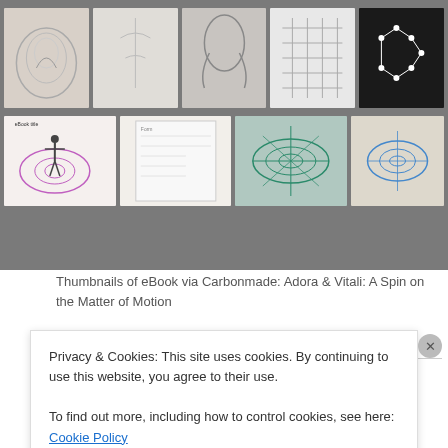[Figure (photo): Grid of thumbnail images from an eBook, showing sketches of a rose, figure drawings, a portrait, grid patterns, molecular diagrams, a human figure with ellipses, a form document, and spiral/wave diagrams.]
Thumbnails of eBook via Carbonmade: Adora & Vitali: A Spin on the Matter of Motion
Climactic Breaks nomadbeatz
[Figure (photo): Partial view of a music-related image with an orange/brown color bar at the top.]
Privacy & Cookies: This site uses cookies. By continuing to use this website, you agree to their use.
To find out more, including how to control cookies, see here: Cookie Policy
Close and accept